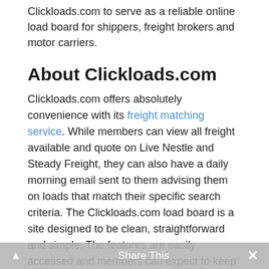Clickloads.com to serve as a reliable online load board for shippers, freight brokers and motor carriers.
About Clickloads.com
Clickloads.com offers absolutely convenience with its freight matching service. While members can view all freight available and quote on Live Nestle and Steady Freight, they can also have a daily morning email sent to them advising them on loads that match their specific search criteria. The Clickloads.com load board is a site designed to be clean, straightforward and simple. The features are easily accessed and members can expect to keep their equipment running at capacity by keeping up to date with the latest available freight loads in real time.
How Clickloads.com compares with Free Freight Search?
You will find that both Clickloads.com and FreeFreightSearch.com are online load boards. However, FreeFreightSearch.com is the world's LARGEST
Share This ×